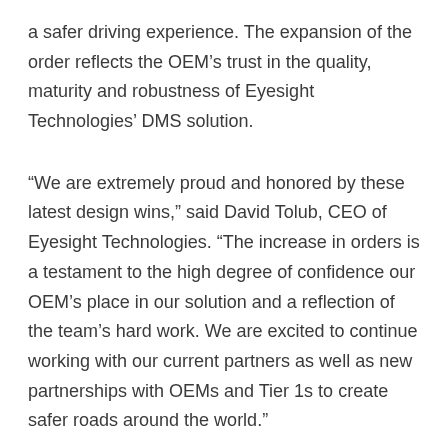a safer driving experience. The expansion of the order reflects the OEM’s trust in the quality, maturity and robustness of Eyesight Technologies’ DMS solution.
“We are extremely proud and honored by these latest design wins,” said David Tolub, CEO of Eyesight Technologies. “The increase in orders is a testament to the high degree of confidence our OEM’s place in our solution and a reflection of the team’s hard work. We are excited to continue working with our current partners as well as new partnerships with OEMs and Tier 1s to create safer roads around the world.”